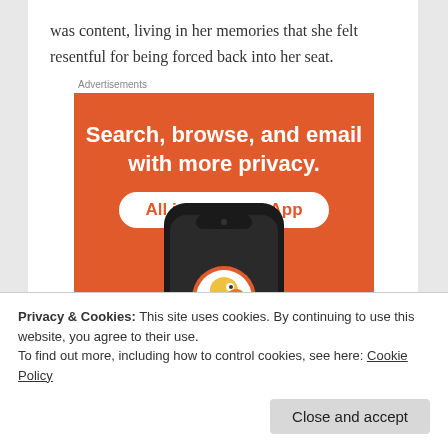was content, living in her memories that she felt resentful for being forced back into her seat.
[Figure (other): DuckDuckGo advertisement banner on orange background. Text reads: Search, browse, and email with more privacy. All in One Free App. Shows a smartphone with the DuckDuckGo duck logo.]
Privacy & Cookies: This site uses cookies. By continuing to use this website, you agree to their use.
To find out more, including how to control cookies, see here: Cookie Policy